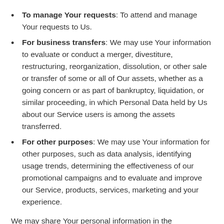To manage Your requests: To attend and manage Your requests to Us.
For business transfers: We may use Your information to evaluate or conduct a merger, divestiture, restructuring, reorganization, dissolution, or other sale or transfer of some or all of Our assets, whether as a going concern or as part of bankruptcy, liquidation, or similar proceeding, in which Personal Data held by Us about our Service users is among the assets transferred.
For other purposes: We may use Your information for other purposes, such as data analysis, identifying usage trends, determining the effectiveness of our promotional campaigns and to evaluate and improve our Service, products, services, marketing and your experience.
We may share Your personal information in the